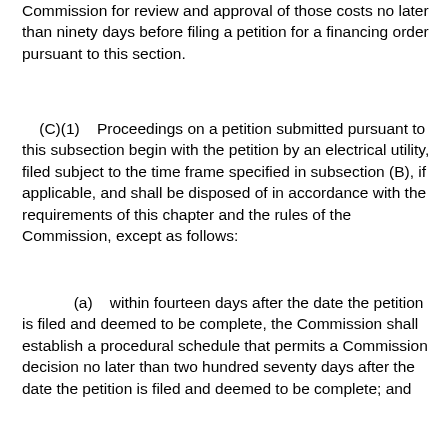Commission for review and approval of those costs no later than ninety days before filing a petition for a financing order pursuant to this section.
(C)(1)    Proceedings on a petition submitted pursuant to this subsection begin with the petition by an electrical utility, filed subject to the time frame specified in subsection (B), if applicable, and shall be disposed of in accordance with the requirements of this chapter and the rules of the Commission, except as follows:
(a)    within fourteen days after the date the petition is filed and deemed to be complete, the Commission shall establish a procedural schedule that permits a Commission decision no later than two hundred seventy days after the date the petition is filed and deemed to be complete; and